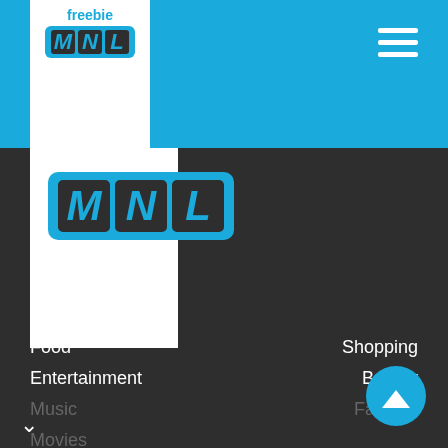[Figure (logo): FreebieMNL logo — white box with 'freebie' text and MNL letter blocks on blue background. Repeated in larger form below.]
Food
Shopping
Entertainment
Beauty
Music
Fashion
Movies
Geek
Deals
Showbiz
Vouchers
Lifestyle
Life Hacks
FreebieMNL uses “cookies” to allow us to help you navigate efficiently to obtain the information and services you need and to enhance user experience. Find out more here.
Okay